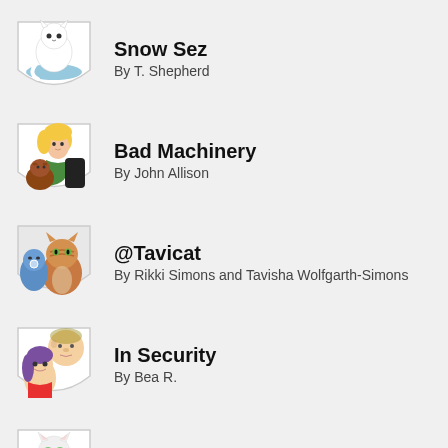Snow Sez
By T. Shepherd
Bad Machinery
By John Allison
@Tavicat
By Rikki Simons and Tavisha Wolfgarth-Simons
In Security
By Bea R.
Breaking Cat News
By Georgia Dunn